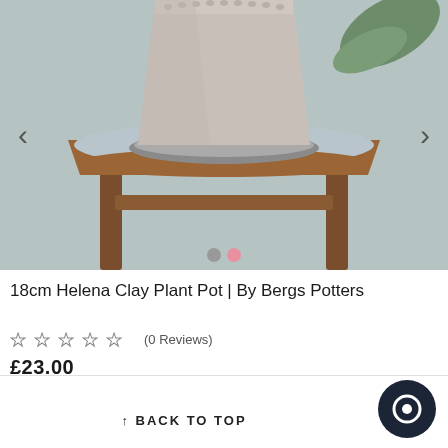[Figure (photo): Product photo of an 18cm Helena Clay Plant Pot by Bergs Potters, shown sitting on a saucer on a rustic wooden stool, with a muted teal/grey background. The pot is grey/beige with a dotted rim pattern. A green plant leaf is visible in the top right corner.]
18cm Helena Clay Plant Pot | By Bergs Potters
☆☆☆☆☆ (0 Reviews)
£23.00
↑ BACK TO TOP